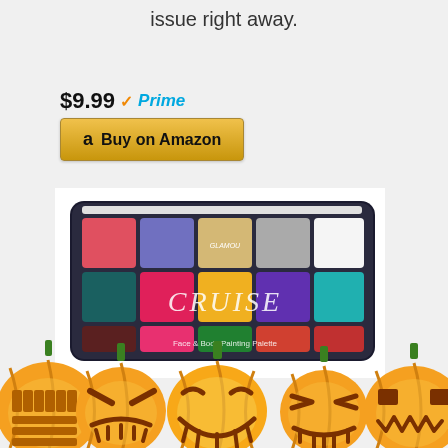issue right away.
$9.99 ✓Prime
[Figure (other): Buy on Amazon button with Amazon logo]
[Figure (photo): CRUISE Face & Body Painting Palette with 15 color squares in a black case]
[Figure (illustration): Five Halloween jack-o-lantern pumpkins in a row at the bottom of the page]